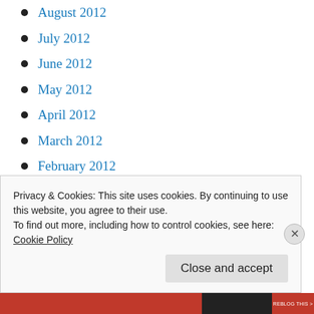August 2012
July 2012
June 2012
May 2012
April 2012
March 2012
February 2012
January 2012
December 2011
November 2011
October 2011
Privacy & Cookies: This site uses cookies. By continuing to use this website, you agree to their use.
To find out more, including how to control cookies, see here:
Cookie Policy
Close and accept